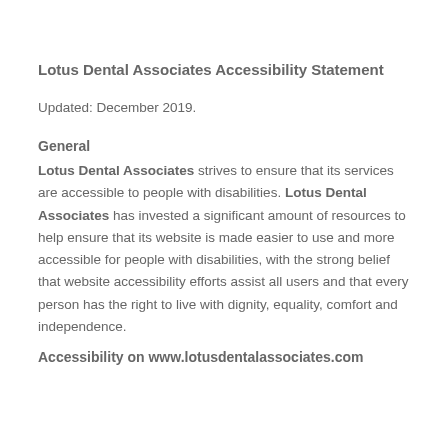Lotus Dental Associates Accessibility Statement
Updated: December 2019.
General
Lotus Dental Associates strives to ensure that its services are accessible to people with disabilities. Lotus Dental Associates has invested a significant amount of resources to help ensure that its website is made easier to use and more accessible for people with disabilities, with the strong belief that website accessibility efforts assist all users and that every person has the right to live with dignity, equality, comfort and independence.
Accessibility on www.lotusdentalassociates.com